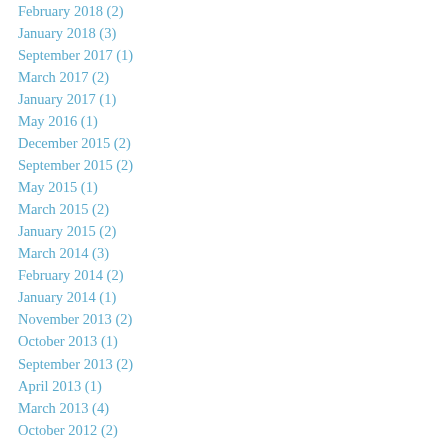February 2018 (2)
January 2018 (3)
September 2017 (1)
March 2017 (2)
January 2017 (1)
May 2016 (1)
December 2015 (2)
September 2015 (2)
May 2015 (1)
March 2015 (2)
January 2015 (2)
March 2014 (3)
February 2014 (2)
January 2014 (1)
November 2013 (2)
October 2013 (1)
September 2013 (2)
April 2013 (1)
March 2013 (4)
October 2012 (2)